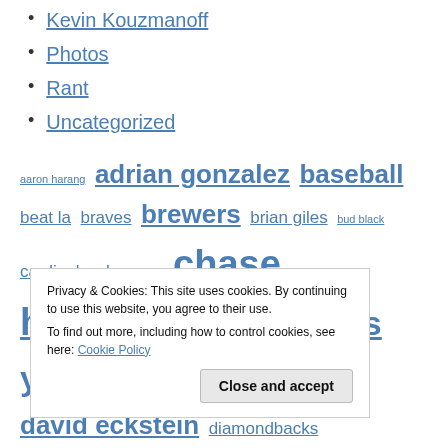Kevin Kouzmanoff
Photos
Rant
Uncategorized
aaron harang adrian gonzalez baseball beat la braves brewers brian giles bud black cardinals chargers chase headley cha seung baek chris young clayton richard cubs david eckstein diamondbacks dodgers edgar gonzalez everth cabrera fan day fanfest first place first place padres front office giants go padres!! greg maddux heath bell hyun young jake peavy jeff moorad jen jody gerut jon garland josh geer kaybee kevin correia kevin
Privacy & Cookies: This site uses cookies. By continuing to use this website, you agree to their use. To find out more, including how to control cookies, see here: Cookie Policy